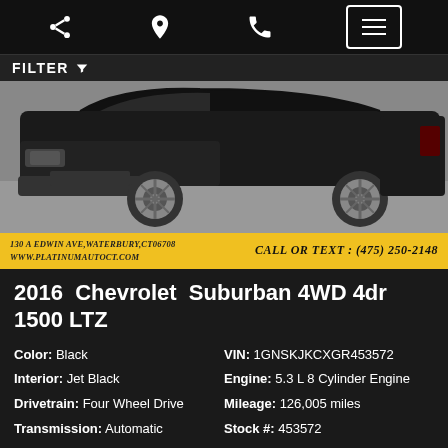[Figure (screenshot): Mobile car dealership listing page showing a 2016 Chevrolet Suburban with top navigation bar icons (share, location, phone, menu), a FILTER bar, a partial photo of a black SUV, and dealer contact banner.]
2016  Chevrolet  Suburban 4WD 4dr 1500 LTZ
Color: Black | VIN: 1GNSKJKCXGR453572 | Interior: Jet Black | Engine: 5.3 L 8 Cylinder Engine | Drivetrain: Four Wheel Drive | Mileage: 126,005 miles | Transmission: Automatic | Stock #: 453572
$35,995